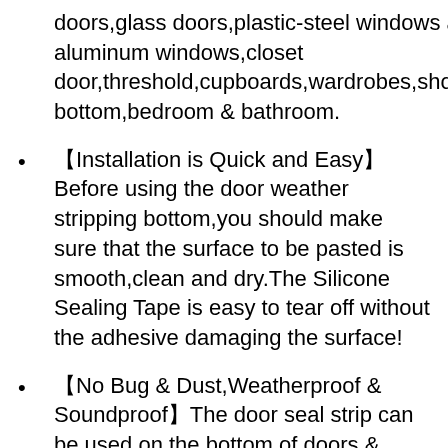doors,glass doors,plastic-steel windows and aluminum windows,closet door,threshold,cupboards,wardrobes,shower bottom,bedroom & bathroom.
【Installation is Quick and Easy】Before using the door weather stripping bottom,you should make sure that the surface to be pasted is smooth,clean and dry.The Silicone Sealing Tape is easy to tear off without the adhesive damaging the surface!
【No Bug & Dust,Weatherproof & Soundproof】The door seal strip can be used on the bottom of doors & windows,keeping bugs out,anti-dust,weatherproof and soundproof, which gives you a clean,relaxing,quiet